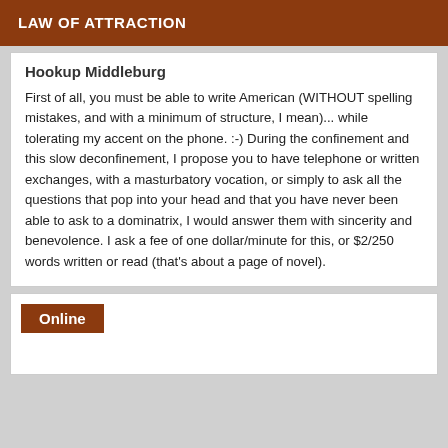LAW OF ATTRACTION
Hookup Middleburg
First of all, you must be able to write American (WITHOUT spelling mistakes, and with a minimum of structure, I mean)... while tolerating my accent on the phone. :-) During the confinement and this slow deconfinement, I propose you to have telephone or written exchanges, with a masturbatory vocation, or simply to ask all the questions that pop into your head and that you have never been able to ask to a dominatrix, I would answer them with sincerity and benevolence. I ask a fee of one dollar/minute for this, or $2/250 words written or read (that's about a page of novel).
Online